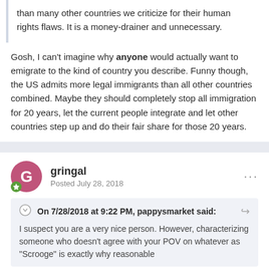than many other countries we criticize for their human rights flaws. It is a money-drainer and unnecessary.
Gosh, I can't imagine why anyone would actually want to emigrate to the kind of country you describe. Funny though, the US admits more legal immigrants than all other countries combined. Maybe they should completely stop all immigration for 20 years, let the current people integrate and let other countries step up and do their fair share for those 20 years.
gringal
Posted July 28, 2018
On 7/28/2018 at 9:22 PM, pappysmarket said:
I suspect you are a very nice person. However, characterizing someone who doesn't agree with your POV on whatever as "Scrooge" is exactly why reasonable